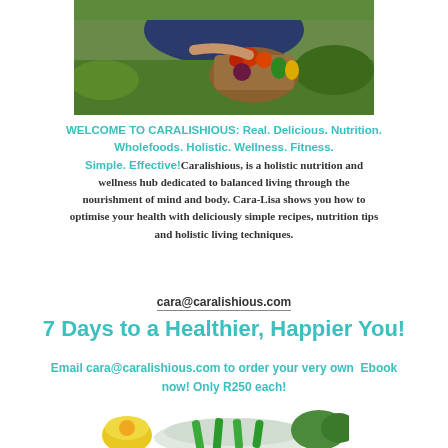[Figure (photo): Woman crouching in a garden holding a basket of fresh vegetables including tomatoes, peppers, and beets]
WELCOME TO CARALISHIOUS: Real. Delicious. Nutrition. Wholefoods. Holistic. Wellness. Fitness. Simple. Effective! Caralishious, is a holistic nutrition and wellness hub dedicated to balanced living through the nourishment of mind and body. Cara-Lisa shows you how to optimise your health with deliciously simple recipes, nutrition tips and holistic living techniques.
cara@caralishious.com
7 Days to a Healthier, Happier You!
Email cara@caralishious.com to order your very own Ebook now! Only R250 each!
[Figure (photo): Food arrangement with green vegetables on a plate and a yellow bowl in the background]